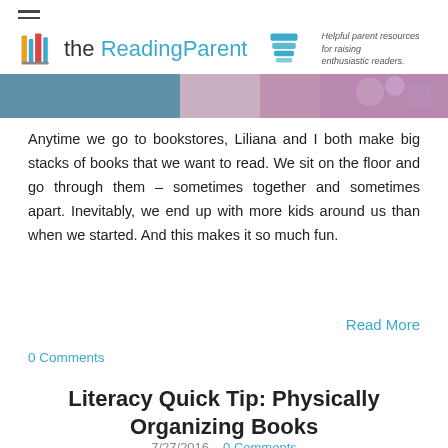the ReadingParent — Helpful parent resources for raising enthusiastic readers.
Anytime we go to bookstores, Liliana and I both make big stacks of books that we want to read. We sit on the floor and go through them – sometimes together and sometimes apart. Inevitably, we end up with more kids around us than when we started. And this makes it so much fun.
Read More
0 Comments
Literacy Quick Tip: Physically Organizing Books
7/27/2016   0 Comments